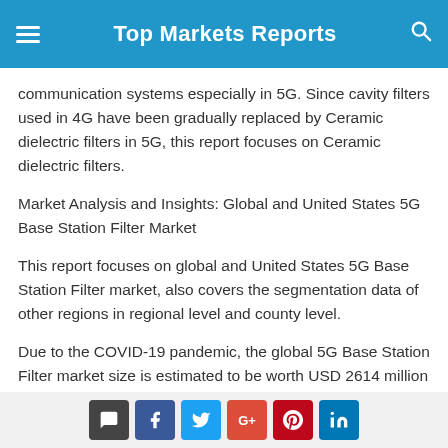Top Markets Reports
communication systems especially in 5G. Since cavity filters used in 4G have been gradually replaced by Ceramic dielectric filters in 5G, this report focuses on Ceramic dielectric filters.
Market Analysis and Insights: Global and United States 5G Base Station Filter Market
This report focuses on global and United States 5G Base Station Filter market, also covers the segmentation data of other regions in regional level and county level.
Due to the COVID-19 pandemic, the global 5G Base Station Filter market size is estimated to be worth USD 2614 million in 2022 and is forecast to a